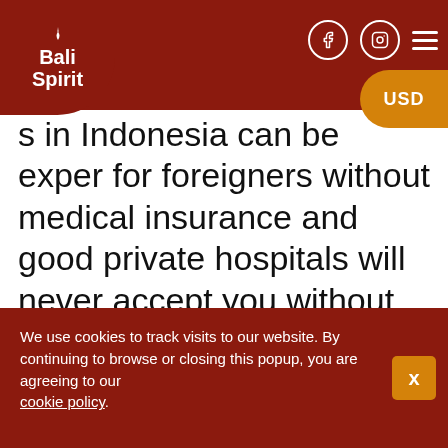Bali Spirit — USD
s in Indonesia can be exper for foreigners without medical insurance and good private hospitals will never accept you without proof that you will pay for their services. Many hospitals across Indonesia and even in Bali are not equipped to handle serious or complicated surgeries, so you would need to have an emergency evacuation to Singapore or Australia and without insurance this can amount up to $50,000
We use cookies to track visits to our website. By continuing to browse or closing this popup, you are agreeing to our cookie policy.